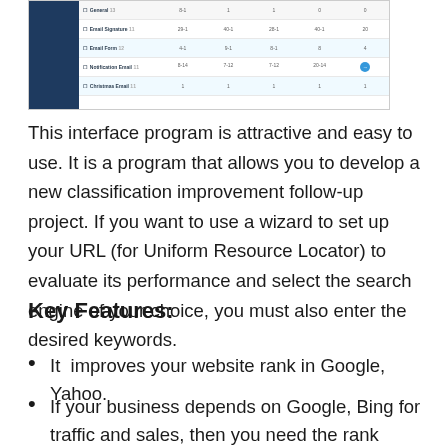[Figure (screenshot): Screenshot of a web application interface showing a table/spreadsheet layout with rows labeled General, Email Signature, Email Form, Notification Email, Christmas Email, with multiple columns of data values and a blue circular icon on the Notification Email row.]
This interface program is attractive and easy to use. It is a program that allows you to develop a new classification improvement follow-up project. If you want to use a wizard to set up your URL (for Uniform Resource Locator) to evaluate its performance and select the search engine of your choice, you must also enter the desired keywords.
Key Features:
It  improves your website rank in Google, Yahoo.
If your business depends on Google, Bing for traffic and sales, then you need the rank tracker